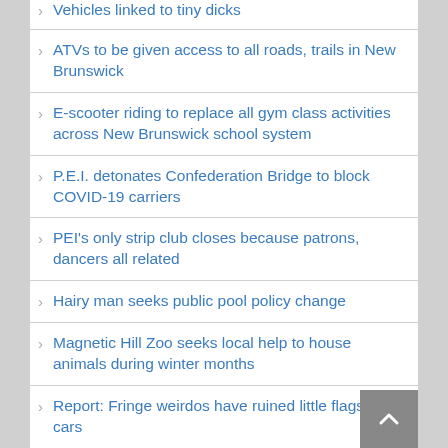Vehicles linked to tiny dicks
ATVs to be given access to all roads, trails in New Brunswick
E-scooter riding to replace all gym class activities across New Brunswick school system
P.E.I. detonates Confederation Bridge to block COVID-19 carriers
PEI's only strip club closes because patrons, dancers all related
Hairy man seeks public pool policy change
Magnetic Hill Zoo seeks local help to house animals during winter months
Report: Fringe weirdos have ruined little flags on cars
'90s French teachers confirm that Dimoitou has died